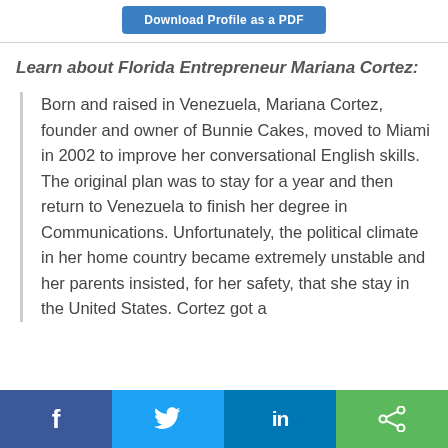Download Profile as a PDF
Learn about Florida Entrepreneur Mariana Cortez:
Born and raised in Venezuela, Mariana Cortez, founder and owner of Bunnie Cakes, moved to Miami in 2002 to improve her conversational English skills. The original plan was to stay for a year and then return to Venezuela to finish her degree in Communications. Unfortunately, the political climate in her home country became extremely unstable and her parents insisted, for her safety, that she stay in the United States. Cortez got a
f  [Twitter]  in  [Share]